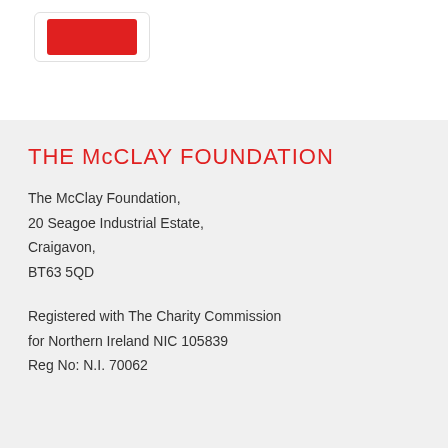[Figure (logo): Red rectangular logo bar for The McClay Foundation]
THE McCLAY FOUNDATION
The McClay Foundation,
20 Seagoe Industrial Estate,
Craigavon,
BT63 5QD
Registered with The Charity Commission for Northern Ireland NIC 105839 Reg No: N.I. 70062